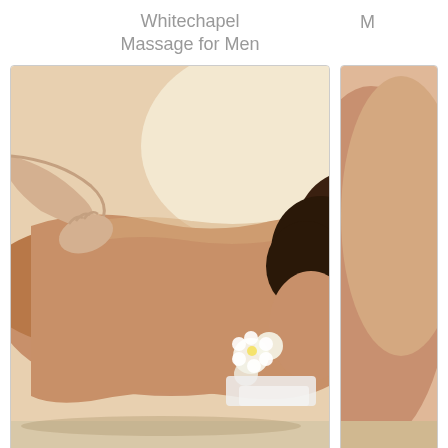Whitechapel
Massage for Men
[Figure (photo): Man receiving a back massage, lying face down on a massage table with white flowers and towels in background]
Pure relaxation for only £50 an hour
[Figure (photo): Partial view of a massage scene (cropped, right side of page)]
A special
Ease Away the Stress with a Visiting Massage in White-
Whether you live in Whitechapel or you're new to the town, Viloma Visiting Lo professionals. Many are trained in the more esoteric therapies, such as holistic ages. They know how to deliver an immersive therapeutic experience and will im
Our London massage service covers all of inner London but if you live or wo accommodate you.